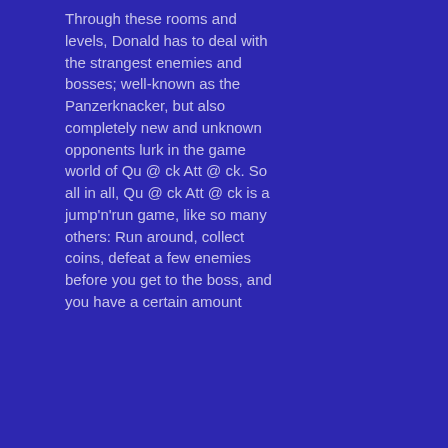Through these rooms and levels, Donald has to deal with the strangest enemies and bosses; well-known as the Panzerknacker, but also completely new and unknown opponents lurk in the game world of Qu @ ck Att @ ck. So all in all, Qu @ ck Att @ ck is a jump'n'run game, like so many others: Run around, collect coins, defeat a few enemies before you get to the boss, and you have a certain amount